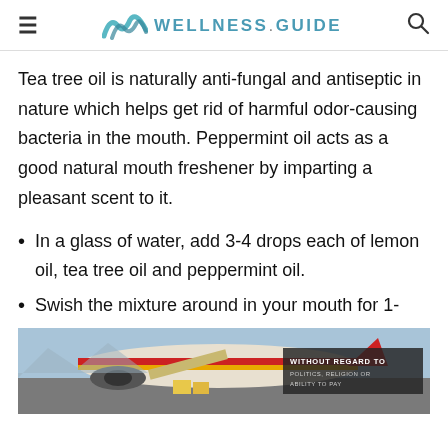WELLNESS.GUIDE
Tea tree oil is naturally anti-fungal and antiseptic in nature which helps get rid of harmful odor-causing bacteria in the mouth. Peppermint oil acts as a good natural mouth freshener by imparting a pleasant scent to it.
In a glass of water, add 3-4 drops each of lemon oil, tea tree oil and peppermint oil.
Swish the mixture around in your mouth for 1-
[Figure (photo): Advertisement banner showing a cargo airplane being loaded, with overlay text reading 'WITHOUT REGARD TO POLITICS, RELIGION OR ABILITY TO PAY']